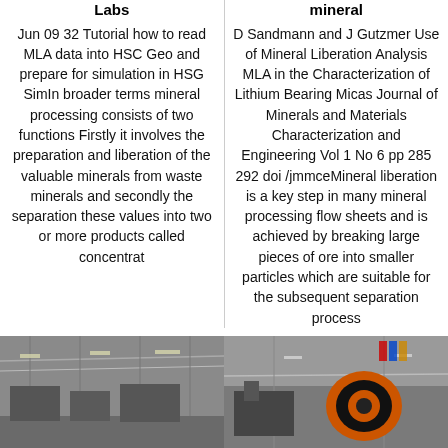Labs
Jun 09 32 Tutorial how to read MLA data into HSC Geo and prepare for simulation in HSG SimIn broader terms mineral processing consists of two functions Firstly it involves the preparation and liberation of the valuable minerals from waste minerals and secondly the separation these values into two or more products called concentrat
mineral
D Sandmann and J Gutzmer Use of Mineral Liberation Analysis MLA in the Characterization of Lithium Bearing Micas Journal of Minerals and Materials Characterization and Engineering Vol 1 No 6 pp 285 292 doi /jmmceMineral liberation is a key step in many mineral processing flow sheets and is achieved by breaking large pieces of ore into smaller particles which are suitable for the subsequent separation process
[Figure (photo): Industrial facility interior showing mineral processing equipment, machinery visible inside a warehouse or plant.]
[Figure (photo): Industrial mineral processing equipment, large machinery with orange and black components inside a facility.]